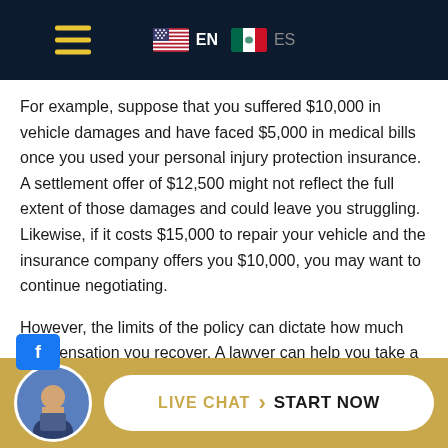Navigation header with hamburger menu, EN and ES language options
For example, suppose that you suffered $10,000 in vehicle damages and have faced $5,000 in medical bills once you used your personal injury protection insurance. A settlement offer of $12,500 might not reflect the full extent of those damages and could leave you struggling. Likewise, if it costs $15,000 to repair your vehicle and the insurance company offers you $10,000, you may want to continue negotiating.
However, the limits of the policy can dictate how much compensation you recover. A lawyer can help you take a more in-depth look at the actual losses you have faced and how they compare to that settlement offer.
[Figure (other): Live chat widget at bottom with attorney avatar, 'LIVE CHAT' and 'START NOW' button in a pill shape on gold background]